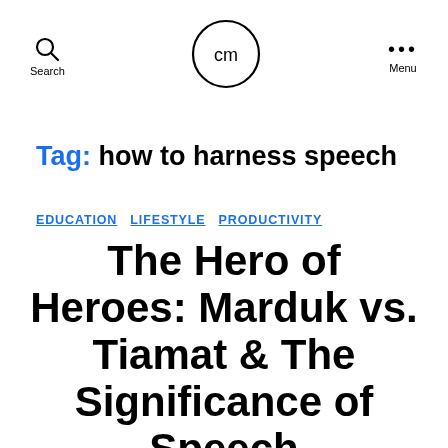Search | cm (logo) | Menu
Tag: how to harness speech
EDUCATION  LIFESTYLE  PRODUCTIVITY
The Hero of Heroes: Marduk vs. Tiamat & The Significance of Speech
By Chris   August 18, 2020   2 Comments